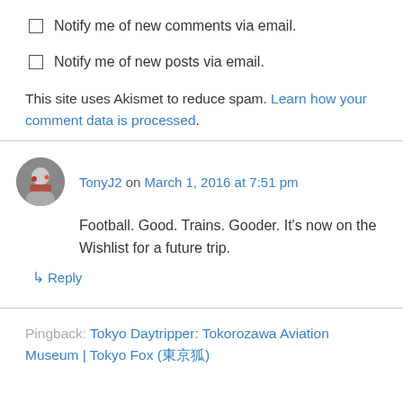Notify me of new comments via email.
Notify me of new posts via email.
This site uses Akismet to reduce spam. Learn how your comment data is processed.
TonyJ2 on March 1, 2016 at 7:51 pm
Football. Good. Trains. Gooder. It's now on the Wishlist for a future trip.
↳ Reply
Pingback: Tokyo Daytripper: Tokorozawa Aviation Museum | Tokyo Fox (東京狐)